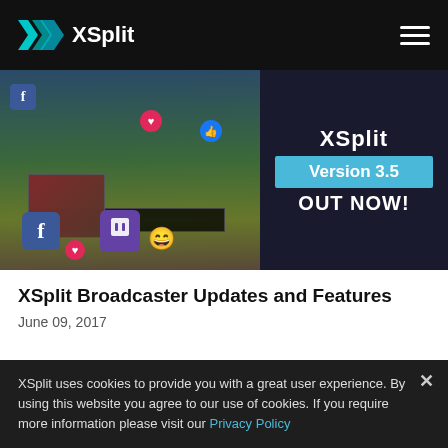XSplit
[Figure (screenshot): XSplit Version 3.5 OUT NOW promotional banner with game streaming software screenshot showing Facebook, Twitch social icons and gameplay footage]
XSplit Broadcaster Updates and Features
June 09, 2017
XSplit uses cookies to provide you with a great user experience. By using this website you agree to our use of cookies. If you require more information please visit our Privacy Policy